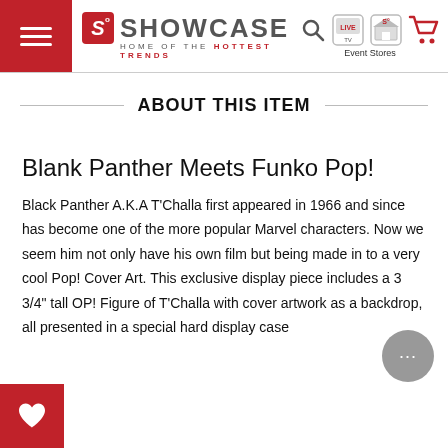Showcase – Home of the Hottest Trends
ABOUT THIS ITEM
Blank Panther Meets Funko Pop!
Black Panther A.K.A T'Challa first appeared in 1966 and since has become one of the more popular Marvel characters. Now we seem him not only have his own film but being made in to a very cool Pop! Cover Art. This exclusive display piece includes a 3 3/4" tall OP! Figure of T'Challa with cover artwork as a backdrop, all presented in a special hard display case